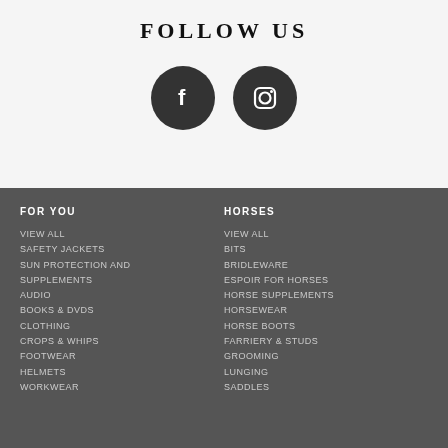FOLLOW US
[Figure (illustration): Two circular dark social media icons: Facebook (f) and Instagram (camera icon)]
FOR YOU
VIEW ALL
SAFETY JACKETS
SUN PROTECTION AND SUPPLEMENTS
AUDIO
BOOKS & DVDS
CLOTHING
CROPS & WHIPS
FOOTWEAR
HELMETS
WORKWEAR
HORSES
VIEW ALL
BITS
BRIDLEWARE
ESPOIR FOR HORSES
HORSE SUPPLEMENTS
HORSEWEAR
HORSE BOOTS
FARRIERY & STUDS
GROOMING
LUNGING
SADDLES